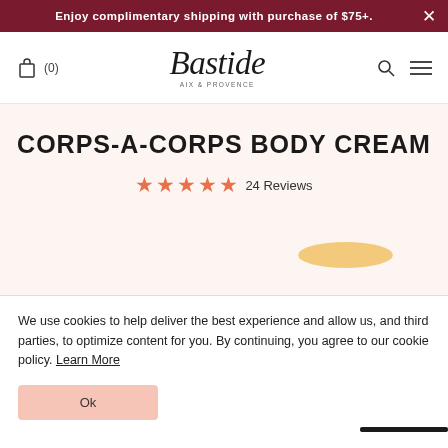Enjoy complimentary shipping with purchase of $75+.
[Figure (logo): Bastide AIX & PROVENCE script logo with shopping bag icon (0), search icon, and hamburger menu icon in navigation bar]
CORPS-A-CORPS BODY CREAM
★★★★★ 24 Reviews
We use cookies to help deliver the best experience and allow us, and third parties, to optimize content for you. By continuing, you agree to our cookie policy. Learn More
Ok